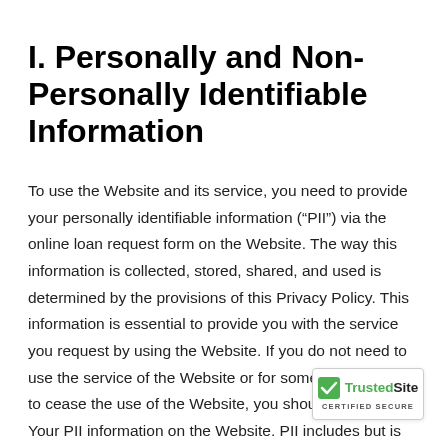I. Personally and Non-Personally Identifiable Information
To use the Website and its service, you need to provide your personally identifiable information (“PII”) via the online loan request form on the Website. The way this information is collected, stored, shared, and used is determined by the provisions of this Privacy Policy. This information is essential to provide you with the service you request by using the Website. If you do not need to use the service of the Website or for some reason decide to cease the use of the Website, you should not submit Your PII information on the Website. PII includes but is not limited to the following information: Your first and last names, address, email address, telephone number, date of birth, employment information, Social Security num...
[Figure (logo): TrustedSite Certified Secure badge with green checkmark]